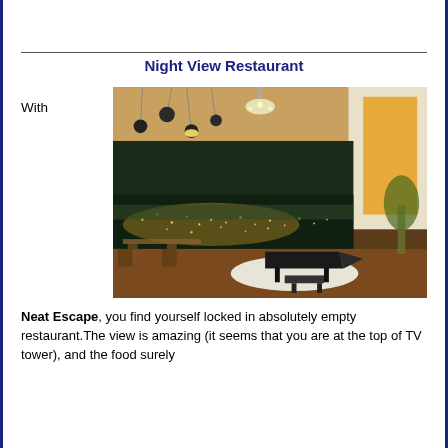Night View Restaurant
With
[Figure (photo): Interior of a high-rise restaurant at night, showing pendant lights hanging from the ceiling, a grand piano on a curved white stage, lounge seating, and a panoramic city night view through floor-to-ceiling windows.]
Neat Escape, you find yourself locked in absolutely empty restaurant.The view is amazing (it seems that you are at the top of TV tower), and the food surely